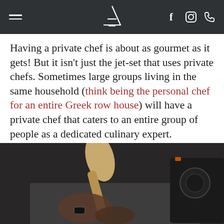A [logo]  f [facebook] [instagram] [phone]
Having a private chef is about as gourmet as it gets! But it isn't just the jet-set that uses private chefs. Sometimes large groups living in the same household (think being the personal chef for an entire Greek row house) will have a private chef that caters to an entire group of people as a dedicated culinary expert.
[Figure (photo): Close-up photo of a person's hands holding a wooden spoon or utensil over a kitchen counter, wearing a black watch, dark background with kitchen equipment visible.]